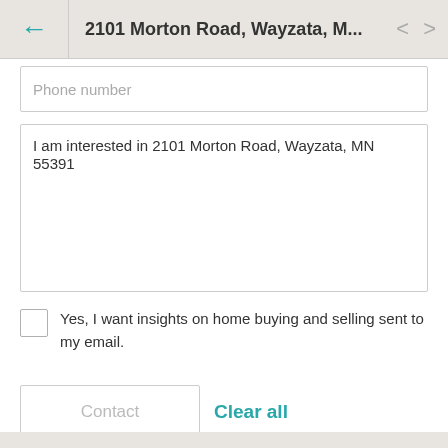2101 Morton Road, Wayzata, M...
Phone number
I am interested in 2101 Morton Road, Wayzata, MN 55391
Yes, I want insights on home buying and selling sent to my email.
Contact
Clear all
*Required field